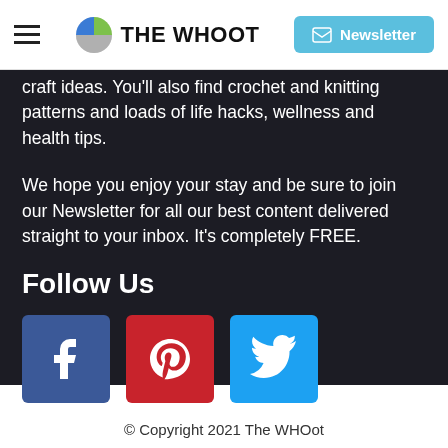THE WHOot — Newsletter
craft ideas. You'll also find crochet and knitting patterns and loads of life hacks, wellness and health tips.
We hope you enjoy your stay and be sure to join our Newsletter for all our best content delivered straight to your inbox. It's completely FREE.
Follow Us
[Figure (illustration): Social media icons: Facebook (blue), Pinterest (red), Twitter (light blue)]
© Copyright 2021 The WHOt